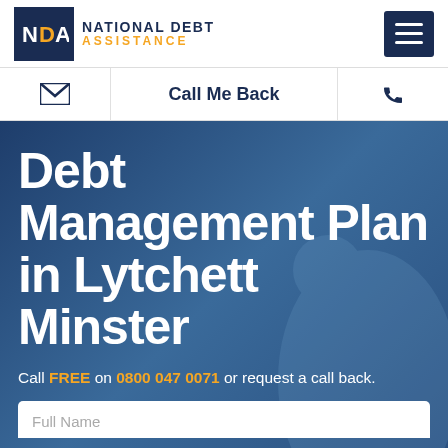[Figure (logo): National Debt Assistance (NDA) logo with dark navy NDA box and text, plus hamburger menu icon]
Call Me Back
Debt Management Plan in Lytchett Minster
Call FREE on 0800 047 0071 or request a call back.
Full Name